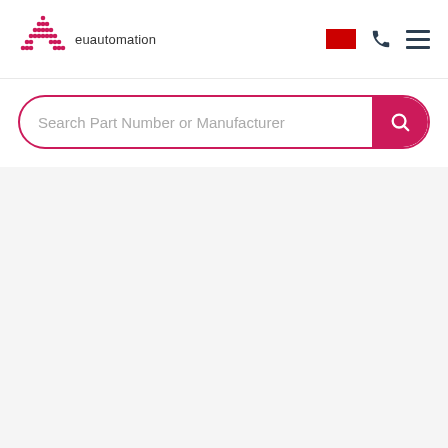[Figure (logo): EU Automation logo: triangular arrangement of pink/red dots forming an 'A' shape, with 'euautomation' text beside it]
[Figure (infographic): Navigation icons: red rectangle flag icon, phone handset icon in dark navy, and hamburger menu (three horizontal lines) in dark navy]
Search Part Number or Manufacturer